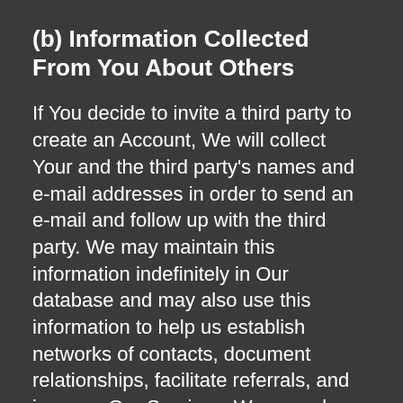(b) Information Collected From You About Others
If You decide to invite a third party to create an Account, We will collect Your and the third party's names and e-mail addresses in order to send an e-mail and follow up with the third party. We may maintain this information indefinitely in Our database and may also use this information to help us establish networks of contacts, document relationships, facilitate referrals, and improve Our Services. We may also use this information to show You